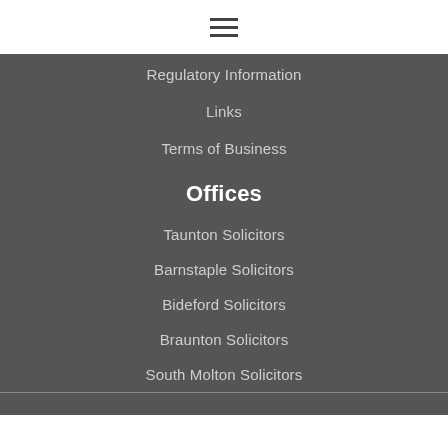☰
Regulatory Information
Links
Terms of Business
Offices
Taunton Solicitors
Barnstaple Solicitors
Bideford Solicitors
Braunton Solicitors
South Molton Solicitors